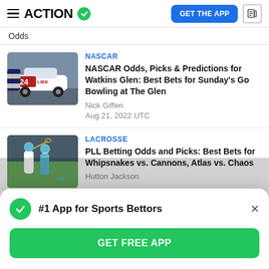ACTION — GET THE APP
Odds
NASCAR — NASCAR Odds, Picks & Predictions for Watkins Glen: Best Bets for Sunday's Go Bowling at The Glen — Nick Giffen — Aug 21, 2022 UTC
LACROSSE — PLL Betting Odds and Picks: Best Bets for Whipsnakes vs. Cannons, Atlas vs. Chaos — Hutton Jackson
#1 App for Sports Bettors — GET FREE APP